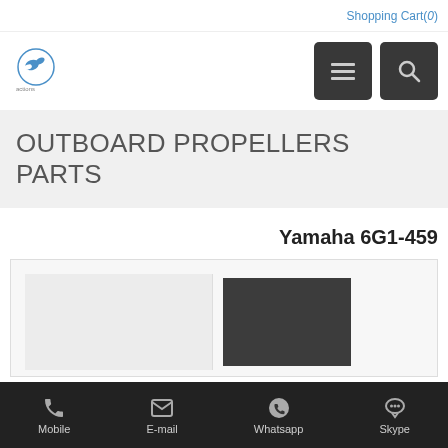Shopping Cart(0)
[Figure (logo): Website logo with a bird/swallow icon in a circle]
OUTBOARD PROPELLERS PARTS
Yamaha 6G1-459
[Figure (photo): Product images showing outboard propeller parts, light grey area on left and dark image on right]
Mobile   E-mail   Whatsapp   Skype